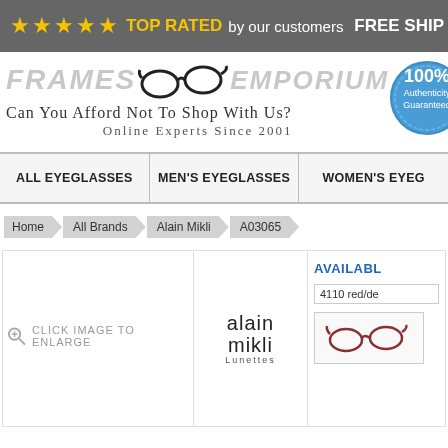★★★★★ TOP RATED by our customers   FREE SHIP
[Figure (logo): Frames Emporium logo with eyeglasses image, tagline 'Can You Afford Not To Shop With Us?' and 'Online Experts Since 2001', plus 100% Authenticity Guaranteed badge]
ALL EYEGLASSES
MEN'S EYEGLASSES
WOMEN'S EYEG
Home > All Brands > Alain Mikli > A03065
CLICK IMAGE TO ENLARGE
[Figure (logo): Alain Mikli Lunettes brand logo]
AVAILABLE
4110 red/de
[Figure (photo): Small product swatch image of eyeglasses in red/dark color]